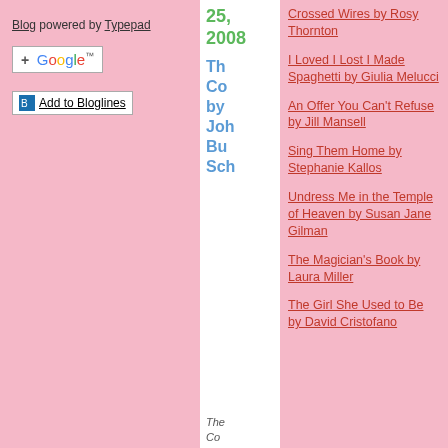Blog powered by Typepad
[Figure (other): Add to Google button with Google logo and plus sign]
[Figure (other): Add to Bloglines button with icon]
25, 2008
The Co by Joh Bu Sch
Crossed Wires by Rosy Thornton
I Loved I Lost I Made Spaghetti by Giulia Melucci
An Offer You Can't Refuse by Jill Mansell
Sing Them Home by Stephanie Kallos
Undress Me in the Temple of Heaven by Susan Jane Gilman
The Magician's Book by Laura Miller
The Girl She Used to Be by David Cristofano
The Co